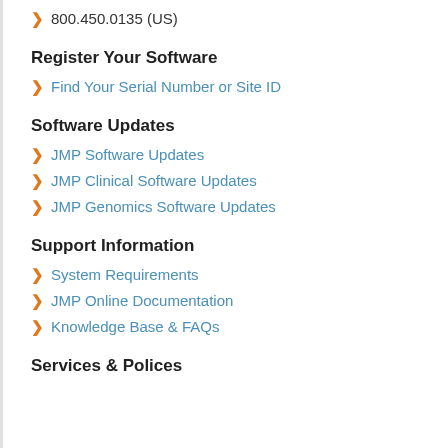800.450.0135 (US)
Register Your Software
Find Your Serial Number or Site ID
Software Updates
JMP Software Updates
JMP Clinical Software Updates
JMP Genomics Software Updates
Support Information
System Requirements
JMP Online Documentation
Knowledge Base & FAQs
Services & Polices